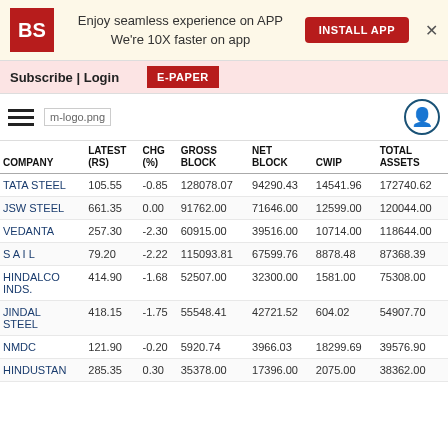[Figure (screenshot): Business Standard app install banner with BS logo, text 'Enjoy seamless experience on APP We're 10X faster on app', INSTALL APP button, and close X button]
Subscribe | Login  E-PAPER
[Figure (logo): m-logo.png and hamburger menu with user icon]
| COMPANY | LATEST (RS) | CHG (%) | GROSS BLOCK | NET BLOCK | CWIP | TOTAL ASSETS |
| --- | --- | --- | --- | --- | --- | --- |
| TATA STEEL | 105.55 | -0.85 | 128078.07 | 94290.43 | 14541.96 | 172740.62 |
| JSW STEEL | 661.35 | 0.00 | 91762.00 | 71646.00 | 12599.00 | 120044.00 |
| VEDANTA | 257.30 | -2.30 | 60915.00 | 39516.00 | 10714.00 | 118644.00 |
| S A I L | 79.20 | -2.22 | 115093.81 | 67599.76 | 8878.48 | 87368.39 |
| HINDALCO INDS. | 414.90 | -1.68 | 52507.00 | 32300.00 | 1581.00 | 75308.00 |
| JINDAL STEEL | 418.15 | -1.75 | 55548.41 | 42721.52 | 604.02 | 54907.70 |
| NMDC | 121.90 | -0.20 | 5920.74 | 3966.03 | 18299.69 | 39576.90 |
| HINDUSTAN | 285.35 | 0.30 | 35378.00 | 17396.00 | 2075.00 | 38362.00 |